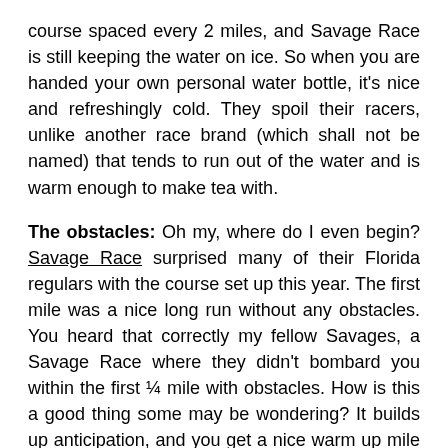course spaced every 2 miles, and Savage Race is still keeping the water on ice. So when you are handed your own personal water bottle, it's nice and refreshingly cold. They spoil their racers, unlike another race brand (which shall not be named) that tends to run out of the water and is warm enough to make tea with.
The obstacles: Oh my, where do I even begin? Savage Race surprised many of their Florida regulars with the course set up this year. The first mile was a nice long run without any obstacles. You heard that correctly my fellow Savages, a Savage Race where they didn't bombard you within the first ¼ mile with obstacles. How is this a good thing some may be wondering? It builds up anticipation, and you get a nice warm up mile to get the blood flowing before they start slamming you with obstacle after obstacle.